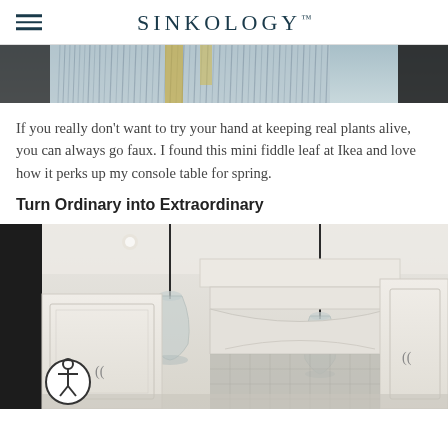SINKOLOGY™
[Figure (photo): Partial view of a decorative wall hanging or macrame/textile art with yellow and silver/grey elements against a window or dark frame, cropped at top of page]
If you really don't want to try your hand at keeping real plants alive, you can always go faux. I found this mini fiddle leaf at Ikea and love how it perks up my console table for spring.
Turn Ordinary into Extraordinary
[Figure (photo): Interior kitchen photo showing white cabinetry with raised panel doors, a decorative range hood, stone or tile backsplash in grey tones, and two hanging pendant lights with clear glass bell shades on black cords. An accessibility icon button is visible in the lower left corner.]